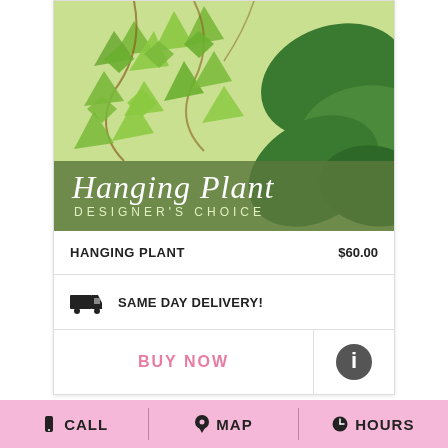[Figure (photo): Hanging plant product card with green ivy/trailing plant on light green background, with dark green banner overlay showing product name]
Hanging Plant
DESIGNER'S CHOICE
HANGING PLANT   $60.00
SAME DAY DELIVERY!
BUY NOW
CALL   MAP   HOURS